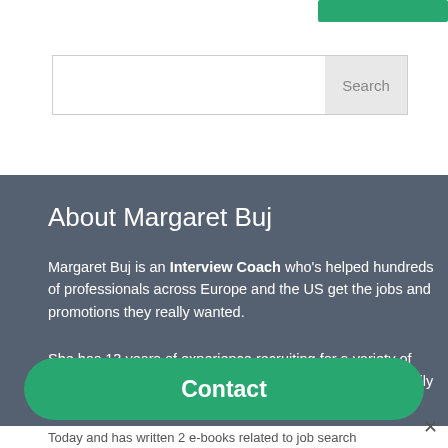[Figure (screenshot): Green navigation button partially visible at top right]
[Figure (screenshot): Search box with Search button]
About Margaret Buj
Margaret Buj is an Interview Coach who's helped hundreds of professionals across Europe and the US get the jobs and promotions they really wanted.
She has 13 years of experience recruiting for a variety of positions at all levels across Europe and in the US, primarily in technology and e-commerce sectors.
Today and has written 2 e-books related to job search
[Figure (screenshot): Green Contact button overlay]